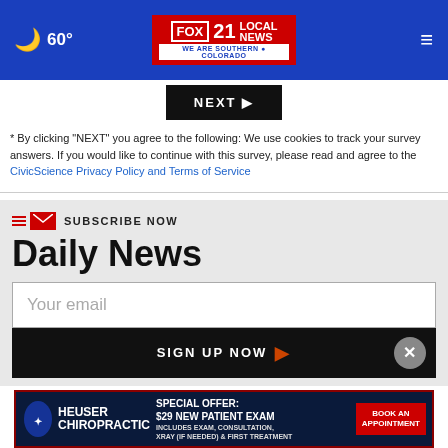60° FOX 21 LOCAL NEWS — WE ARE SOUTHERN COLORADO
[Figure (screenshot): NEXT button (black background, white text)]
* By clicking "NEXT" you agree to the following: We use cookies to track your survey answers. If you would like to continue with this survey, please read and agree to the CivicScience Privacy Policy and Terms of Service
SUBSCRIBE NOW
Daily News
Your email
SIGN UP NOW
[Figure (illustration): Heuser Chiropractic advertisement banner. Special Offer: $29 New Patient Exam. Includes exam, consultation, x-ray (if needed) & first treatment. Book an Appointment button.]